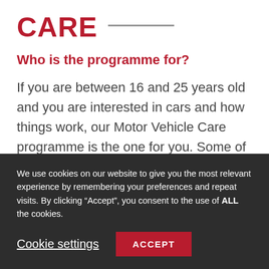CARE
Who is the programme for?
If you are between 16 and 25 years old and you are interested in cars and how things work, our Motor Vehicle Care programme is the one for you. Some of the practical skills you will learn include how to keep cars looking and to recognise problems to...
We use cookies on our website to give you the most relevant experience by remembering your preferences and repeat visits. By clicking “Accept”, you consent to the use of ALL the cookies.
Cookie settings
ACCEPT